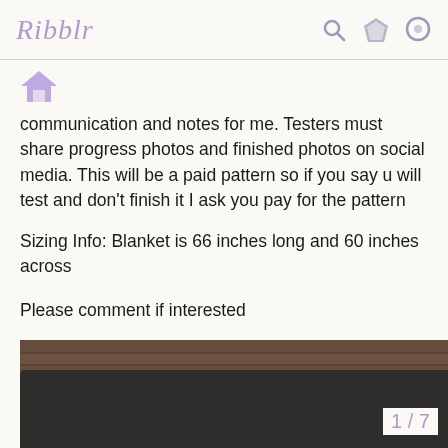Ribblr
communication and notes for me. Testers must share progress photos and finished photos on social media. This will be a paid pattern so if you say u will test and don't finish it I ask you pay for the pattern
Sizing Info: Blanket is 66 inches long and 60 inches across
Please comment if interested
[Figure (photo): Photo of a crocheted blanket with colorful stripes (purple, orange, mint) draped over a dark surface, with a wooden cabinet in the background]
1 / 7